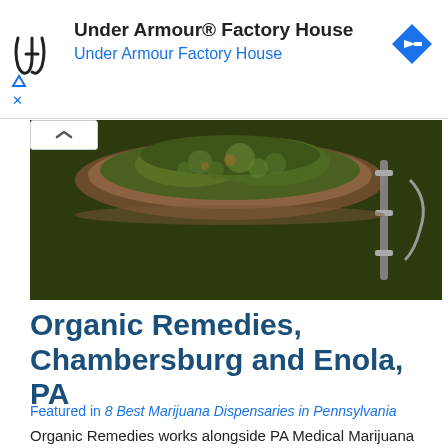[Figure (logo): Under Armour logo and navigation icon in advertisement banner for Under Armour Factory House]
Organic Remedies, Chambersburg and Enola, PA
Featured in 8 Best Marijuana Dispensaries in Pennsylvania
Organic Remedies works alongside PA Medical Marijuana Program approved growers to provide their patients with high-quality products. From capsules to